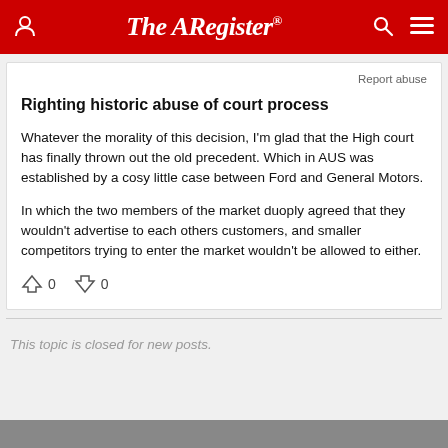The Register
Report abuse
Righting historic abuse of court process
Whatever the morality of this decision, I'm glad that the High court has finally thrown out the old precedent. Which in AUS was established by a cosy little case between Ford and General Motors.
In which the two members of the market duoply agreed that they wouldn't advertise to each others customers, and smaller competitors trying to enter the market wouldn't be allowed to either.
↑ 0  ↓ 0
This topic is closed for new posts.